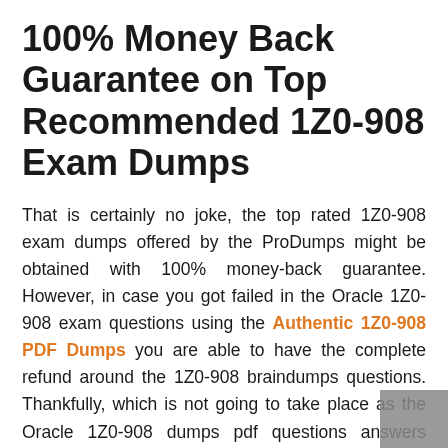100% Money Back Guarantee on Top Recommended 1Z0-908 Exam Dumps
That is certainly no joke, the top rated 1Z0-908 exam dumps offered by the ProDumps might be obtained with 100% money-back guarantee. However, in case you got failed in the Oracle 1Z0-908 exam questions using the Authentic 1Z0-908 PDF Dumps you are able to have the complete refund around the 1Z0-908 braindumps questions. Thankfully, which is not going to take place as the Oracle 1Z0-908 dumps pdf questions answers provided by them possess a highest passing rate and also you can attest that fact by going via the testimonials of the top quality 1Z0-908 exam dumps questions page exactly where you are able to possess the